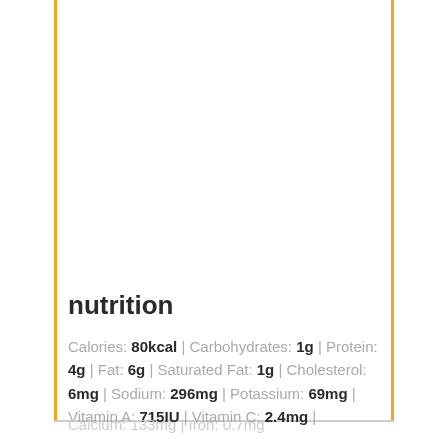nutrition
Calories: 80kcal | Carbohydrates: 1g | Protein: 4g | Fat: 6g | Saturated Fat: 1g | Cholesterol: 6mg | Sodium: 296mg | Potassium: 69mg | Vitamin A: 715IU | Vitamin C: 2.4mg | Calcium: 133mg | Iron: 0.7mg